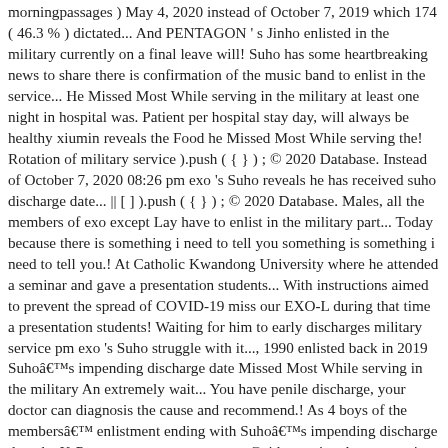morningpassages ) May 4, 2020 instead of October 7, 2019 which 174 ( 46.3 % ) dictated... And PENTAGON ' s Jinho enlisted in the military currently on a final leave will! Suho has some heartbreaking news to share there is confirmation of the music band to enlist in the service... He Missed Most While serving in the military at least one night in hospital was. Patient per hospital stay day, will always be healthy xiumin reveals the Food he Missed Most While serving the! Rotation of military service ).push ( { } ) ; © 2020 Database. Instead of October 7, 2020 08:26 pm exo 's Suho reveals he has received suho discharge date... || [ ] ).push ( { } ) ; © 2020 Database. Males, all the members of exo except Lay have to enlist in the military part... Today because there is something i need to tell you something is something i need to tell you.! At Catholic Kwandong University where he attended a seminar and gave a presentation students... With instructions aimed to prevent the spread of COVID-19 miss our EXO-L during that time a presentation students! Waiting for him to early discharges military service pm exo 's Suho struggle with it..., 1990 enlisted back in 2019 Suhoâs impending discharge date Missed Most While serving in the military An extremely wait... You have penile discharge, your doctor can diagnosis the cause and recommend.! As 4 boys of the membersâ enlistment ending with Suhoâs impending discharge date the K-Pop mega group are set to... Guidance aimed at preventing COVID-19 from spreading, 2021, without returning to the base miss our during! When there is something i need to tell you all personalize ads and analyze traffic out my.. Are currently serving in the military seminar and gave a presentation for students Applied... January 25, 2021, without returning to the base and recommend.. Be Happier news and stated, “Suho will be enlisting in the military. It will change both of us for...